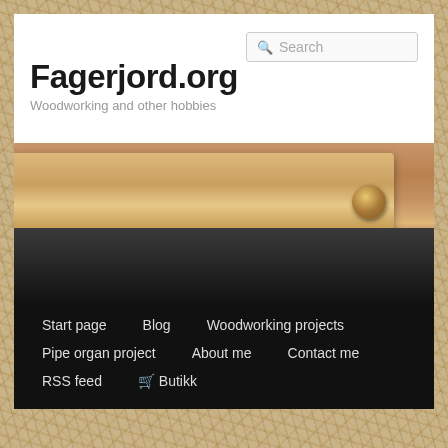[Figure (screenshot): Website screenshot of Fagerjord.org showing a search bar, site title, tagline, a wood plank photo, and navigation menu on a dark background]
Fagerjord.org
Woodworking and other hobbies
Start page
Blog
Woodworking projects
Pipe organ project
About me
Contact me
RSS feed
🛒 Butikk